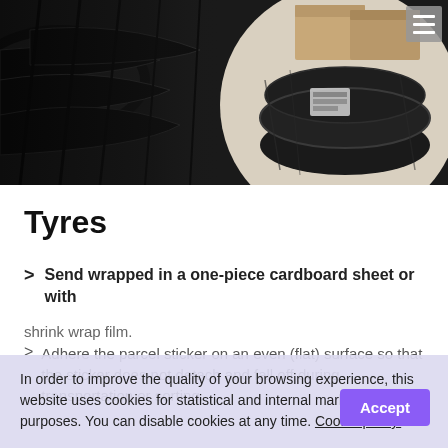[Figure (photo): Hero image showing stacked black car tyres on the left, and on the right a circular cutout showing wrapped/shrink-wrapped tyres and cardboard boxes.]
Tyres
Send wrapped in a one-piece cardboard sheet or with shrink wrap film.
Adhere the parcel sticker on an even (flat) surface so that the sticker does not detach and fall off during transportation or sorting.
In order to improve the quality of your browsing experience, this website uses cookies for statistical and internal marketing purposes. You can disable cookies at any time. Cookie policy.